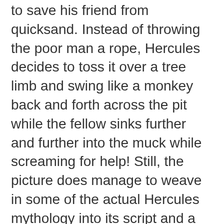to save his friend from quicksand. Instead of throwing the poor man a rope, Hercules decides to toss it over a tree limb and swing like a monkey back and forth across the pit while the fellow sinks further and further into the muck while screaming for help! Still, the picture does manage to weave in some of the actual Hercules mythology into its script and a fair number of cliffhanger moments. There's also the mesmerizing Moira Orfei as the evil sorceress, Piero Lulli as a good guy, an army of bronze automatons and the lovely Marilu Tolo in much distress.
14. SAMSON & HIS MIGHTY CHALLENGE
1964 aka ERCOLE, SANSONE, MACISTE E...